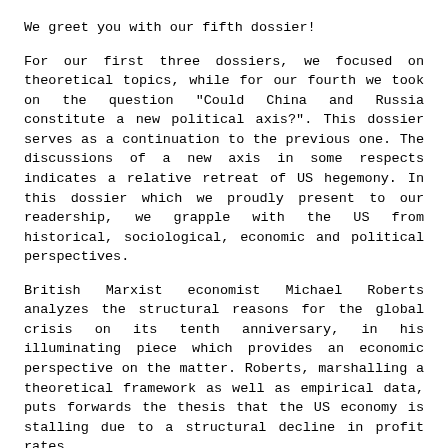We greet you with our fifth dossier!
For our first three dossiers, we focused on theoretical topics, while for our fourth we took on the question "Could China and Russia constitute a new political axis?". This dossier serves as a continuation to the previous one. The discussions of a new axis in some respects indicates a relative retreat of US hegemony. In this dossier which we proudly present to our readership, we grapple with the US from historical, sociological, economic and political perspectives.
British Marxist economist Michael Roberts analyzes the structural reasons for the global crisis on its tenth anniversary, in his illuminating piece which provides an economic perspective on the matter. Roberts, marshalling a theoretical framework as well as empirical data, puts forwards the thesis that the US economy is stalling due to a structural decline in profit rates.
Political sociologist Kumru Toktamış and journalist/sociologist Abby Scher analyze the impact of the #MeToo movement which started in the US and spread across the globe. This piece, which